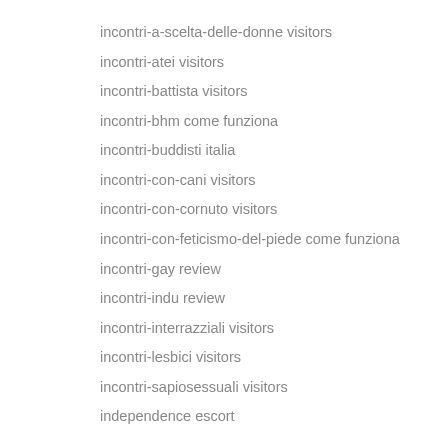incontri-a-scelta-delle-donne visitors
incontri-atei visitors
incontri-battista visitors
incontri-bhm come funziona
incontri-buddisti italia
incontri-con-cani visitors
incontri-con-cornuto visitors
incontri-con-feticismo-del-piede come funziona
incontri-gay review
incontri-indu review
incontri-interrazziali visitors
incontri-lesbici visitors
incontri-sapiosessuali visitors
independence escort